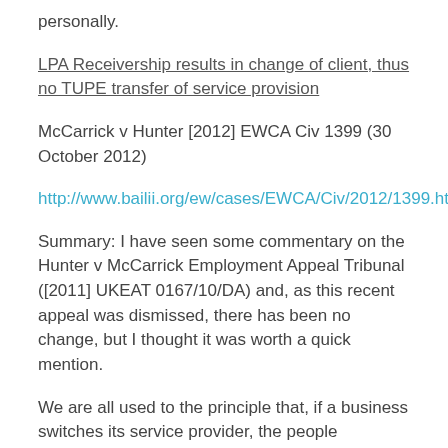personally.
LPA Receivership results in change of client, thus no TUPE transfer of service provision
McCarrick v Hunter [2012] EWCA Civ 1399 (30 October 2012)
http://www.bailii.org/ew/cases/EWCA/Civ/2012/1399.html
Summary: I have seen some commentary on the Hunter v McCarrick Employment Appeal Tribunal ([2011] UKEAT 0167/10/DA) and, as this recent appeal was dismissed, there has been no change, but I thought it was worth a quick mention.
We are all used to the principle that, if a business switches its service provider, the people employed by the original service provider are protected under TUPE.  In this case, the appointment of LPA Receivers led to